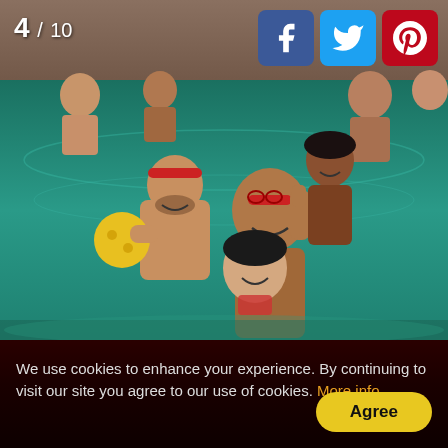[Figure (photo): Group of people in an indoor swimming pool. In the foreground, a man hugs a smiling woman in a bikini. Behind them, another man with a red headband holds a yellow ball. Several other people are visible in the pool background. Image counter '4 / 10' appears in the top-left corner. Social media icons (Facebook, Twitter, Pinterest) appear in the top-right corner.]
We use cookies to enhance your experience. By continuing to visit our site you agree to our use of cookies. More info
Agree